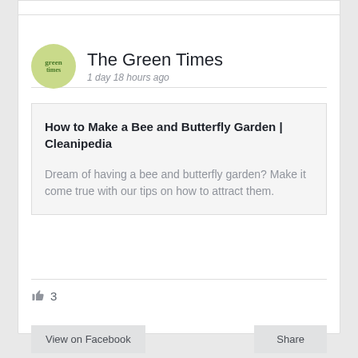[Figure (logo): The Green Times circular logo with green background and green text]
The Green Times
1 day 18 hours ago
How to Make a Bee and Butterfly Garden | Cleanipedia
Dream of having a bee and butterfly garden? Make it come true with our tips on how to attract them.
👍 3
View on Facebook
Share